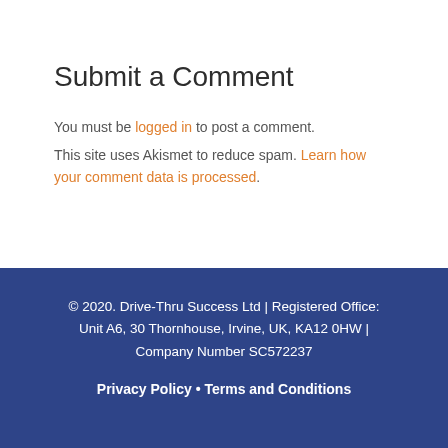Submit a Comment
You must be logged in to post a comment.
This site uses Akismet to reduce spam. Learn how your comment data is processed.
© 2020. Drive-Thru Success Ltd | Registered Office: Unit A6, 30 Thornhouse, Irvine, UK, KA12 0HW | Company Number SC572237
Privacy Policy • Terms and Conditions